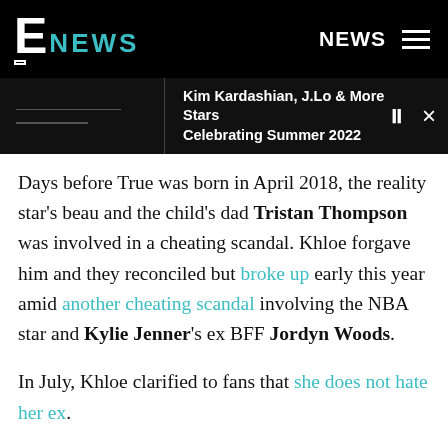E! NEWS — NEWS
Kim Kardashian, J.Lo & More Stars Celebrating Summer 2022
Days before True was born in April 2018, the reality star's beau and the child's dad Tristan Thompson was involved in a cheating scandal. Khloe forgave him and they reconciled but broke up early this year amid another cheating scandal involving the NBA star and Kylie Jenner's ex BFF Jordyn Woods.
In July, Khloe clarified to fans that she does not hate her ex.